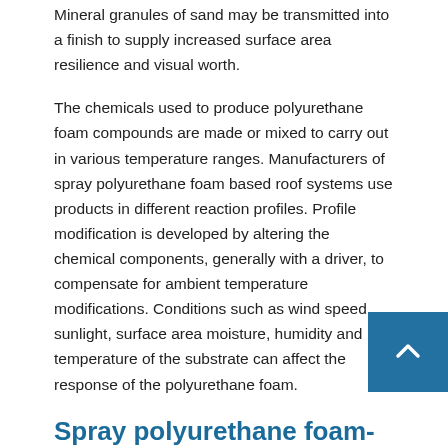Mineral granules of sand may be transmitted into a finish to supply increased surface area resilience and visual worth.
The chemicals used to produce polyurethane foam compounds are made or mixed to carry out in various temperature ranges. Manufacturers of spray polyurethane foam based roof systems use products in different reaction profiles. Profile modification is developed by altering the chemical components, generally with a driver, to compensate for ambient temperature modifications. Conditions such as wind speed, sunlight, surface area moisture, humidity and temperature of the substrate can affect the response of the polyurethane foam.
Spray polyurethane foam-based (SPF) roofing systems
SPF-based roofing system systems are built by mixing and